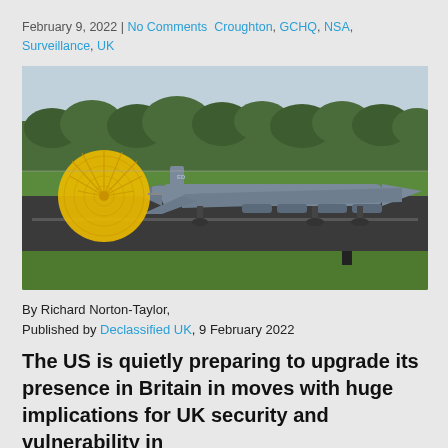February 9, 2022 | No Comments  Croughton, GCHQ, NSA, Surveillance, UK
[Figure (photo): A B-52 Stratofortress bomber aircraft on a runway with a yellow drag parachute deployed, trees visible in the background, overcast sky.]
By Richard Norton-Taylor,
Published by Declassified UK, 9 February 2022
The US is quietly preparing to upgrade its presence in Britain in moves with huge implications for UK security and vulnerability in